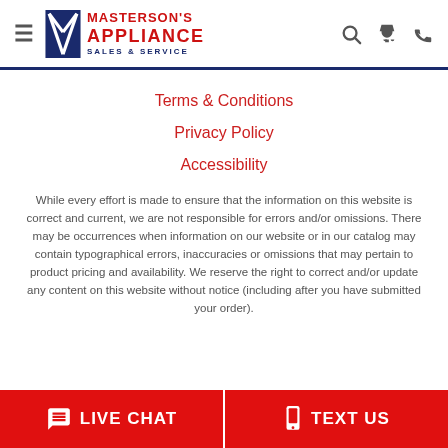Masterson's Appliance Sales & Service
Terms & Conditions
Privacy Policy
Accessibility
While every effort is made to ensure that the information on this website is correct and current, we are not responsible for errors and/or omissions. There may be occurrences when information on our website or in our catalog may contain typographical errors, inaccuracies or omissions that may pertain to product pricing and availability. We reserve the right to correct and/or update any content on this website without notice (including after you have submitted your order).
LIVE CHAT | TEXT US